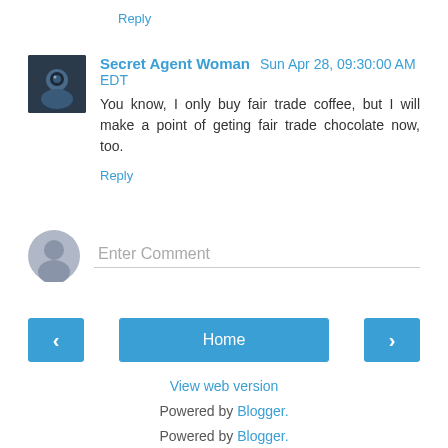Reply
Secret Agent Woman  Sun Apr 28, 09:30:00 AM EDT
You know, I only buy fair trade coffee, but I will make a point of geting fair trade chocolate now, too.
Reply
Enter Comment
‹  Home  ›
View web version
Powered by Blogger.
Powered by Blogger.